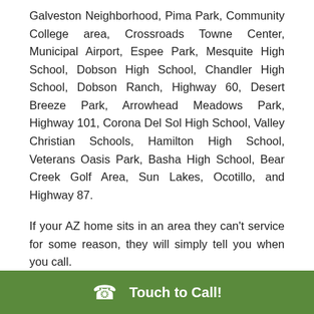Galveston Neighborhood, Pima Park, Community College area, Crossroads Towne Center, Municipal Airport, Espee Park, Mesquite High School, Dobson High School, Chandler High School, Dobson Ranch, Highway 60, Desert Breeze Park, Arrowhead Meadows Park, Highway 101, Corona Del Sol High School, Valley Christian Schools, Hamilton High School, Veterans Oasis Park, Basha High School, Bear Creek Golf Area, Sun Lakes, Ocotillo, and Highway 87.
If your AZ home sits in an area they can't service for some reason, they will simply tell you when you call.
844-307-6405
Touch to Call!